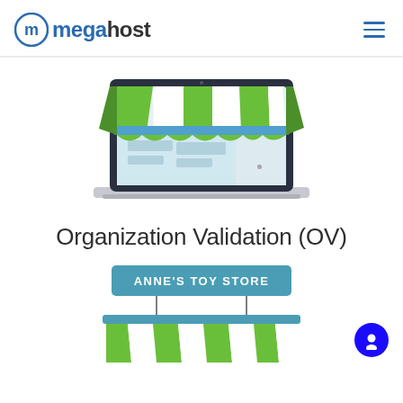megahost
[Figure (illustration): Illustration of a laptop with a green and white striped shop awning / storefront displayed on its screen, representing online business.]
Organization Validation (OV)
[Figure (illustration): Partial illustration of a storefront with a teal banner reading ANNE'S TOY STORE and a green and white striped awning below, partially cut off at bottom of page. A blue chat/support circle button is visible in the lower right corner.]